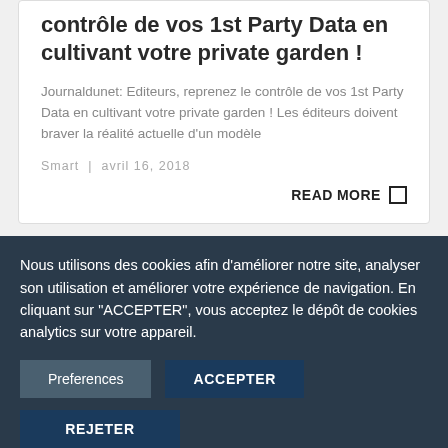contrôle de vos 1st Party Data en cultivant votre private garden !
Journaldunet: Editeurs, reprenez le contrôle de vos 1st Party Data en cultivant votre private garden ! Les éditeurs doivent braver la réalité actuelle d'un modèle
Smart  |  avril 16, 2018
READ MORE
Nous utilisons des cookies afin d'améliorer notre site, analyser son utilisation et améliorer votre expérience de navigation. En cliquant sur "ACCEPTER", vous acceptez le dépôt de cookies analytics sur votre appareil.
Preferences
ACCEPTER
REJETER